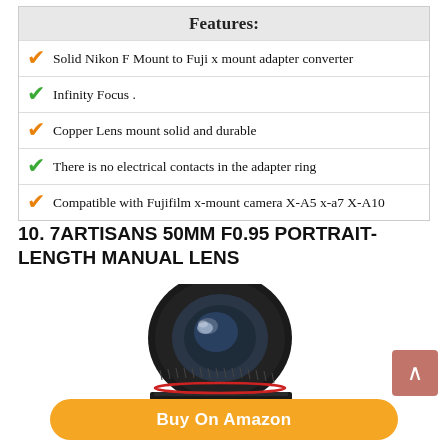Features:
Solid Nikon F Mount to Fuji x mount adapter converter
Infinity Focus .
Copper Lens mount solid and durable
There is no electrical contacts in the adapter ring
Compatible with Fujifilm x-mount camera X-A5 x-a7 X-A10
10. 7ARTISANS 50MM F0.95 PORTRAIT-LENGTH MANUAL LENS
[Figure (photo): Photo of 7Artisans 50mm F0.95 portrait lens in black, shown with accessories including a lens pouch, white gloves, cleaning brush, and lens cloth]
Buy On Amazon